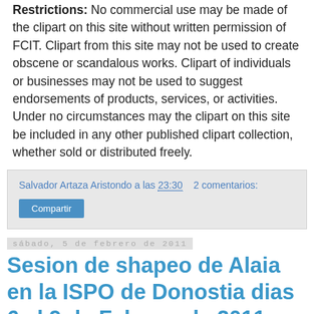Restrictions: No commercial use may be made of the clipart on this site without written permission of FCIT. Clipart from this site may not be used to create obscene or scandalous works. Clipart of individuals or businesses may not be used to suggest endorsements of products, services, or activities. Under no circumstances may the clipart on this site be included in any other published clipart collection, whether sold or distributed freely.
Salvador Artaza Aristondo a las 23:30   2 comentarios:
Compartir
sábado, 5 de febrero de 2011
Sesion de shapeo de Alaia en la ISPO de Donostia dias 6 al 9 de Febrero de 2011..
Una marca nueva de surf de Donosti estará presentando su colección en la próxima ISPO. Harán un evento en vivo donde podremos observar una sesion de shapeo de Alaia...